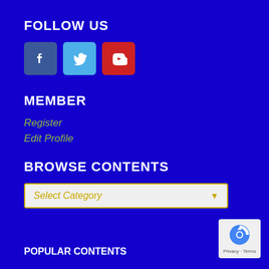FOLLOW US
[Figure (illustration): Three social media icon buttons: Facebook (dark blue), Twitter (light blue), YouTube (red)]
MEMBER
Register
Edit Profile
BROWSE CONTENTS
Select Category
POPULAR CONTENTS
[Figure (logo): Google reCAPTCHA badge with Privacy and Terms links]